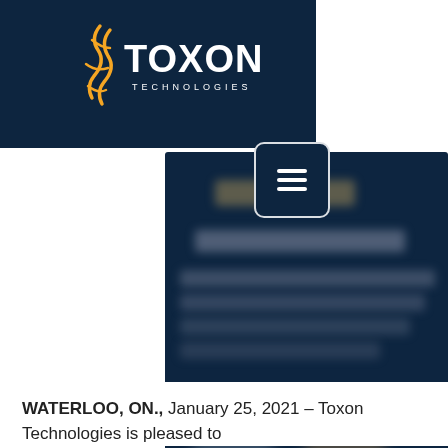[Figure (logo): Toxon Technologies logo with orange flame/DNA icon and white text on dark navy background]
[Figure (screenshot): Blurred/obscured screenshot of a Toxon Technologies webpage showing dark navy background with blurred text and images]
WATERLOO, ON., January 25, 2021 – Toxon Technologies is pleased to